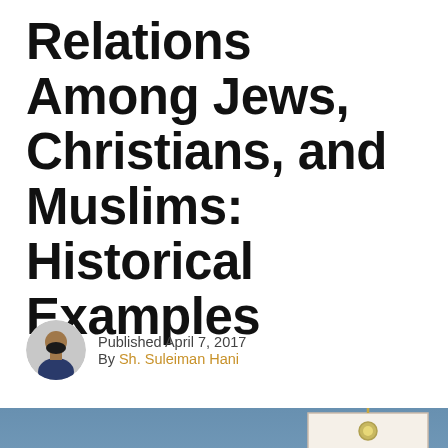Relations Among Jews, Christians, and Muslims: Historical Examples
Published April 7, 2017
By Sh. Suleiman Hani
[Figure (photo): Photo of a church or religious building with blue dome against a blue sky, with a tag overlay reading 'Harmonious Relations Among Jews, Christians, and Muslims: Historical']